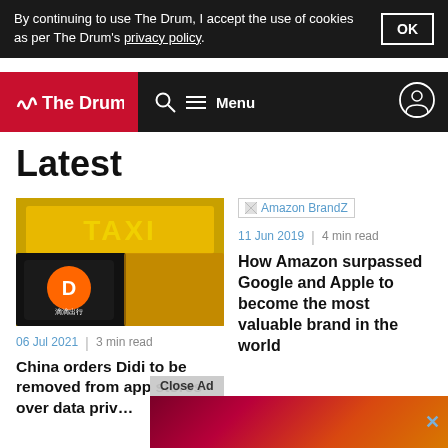By continuing to use The Drum, I accept the use of cookies as per The Drum's privacy policy.
The Drum — Menu navigation bar with search and user icon
Latest
[Figure (photo): Photo of a smartphone showing the Didi app logo, with a yellow taxi cab in the background.]
06 Jul 2021  |  3 min read
China orders Didi to be removed from app stores over data priv…
[Figure (other): Amazon BrandZ image placeholder]
11 Jun 2019  |  4 min read
How Amazon surpassed Google and Apple to become the most valuable brand in the world
Close Ad